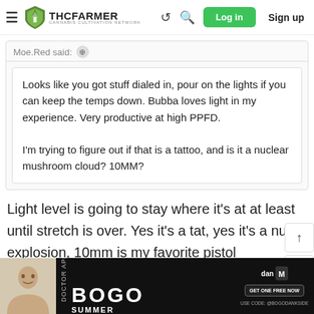THC FARMER — Cannabis Cultivation Network — Log in / Sign up
Moe.Red said:
Looks like you got stuff dialed in, pour on the lights if you can keep the temps down. Bubba loves light in my experience. Very productive at high PPFD.

I'm trying to figure out if that is a tattoo, and is it a nuclear mushroom cloud? 10MM?
Light level is going to stay where it's at at least until stretch is over. Yes it's a tat, yes it's a nuke explosion, 10mm is my favorite pistol caliber/round. I always load them very hot and in the 10mm world we call them nuke loads. Most shooters know what it means. All 10mm
[Figure (screenshot): BOGO Summer Vape Sales advertisement banner with a person's photo and DanM branding]